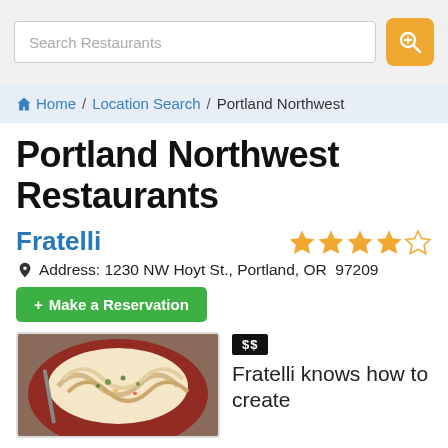Search Restaurants
Home / Location Search / Portland Northwest
Portland Northwest Restaurants
Fratelli
Address: 1230 NW Hoyt St., Portland, OR 97209
+ Make a Reservation
[Figure (photo): Photo of pasta dish with fork on a red plate, garnished with herbs]
$$
Fratelli knows how to create